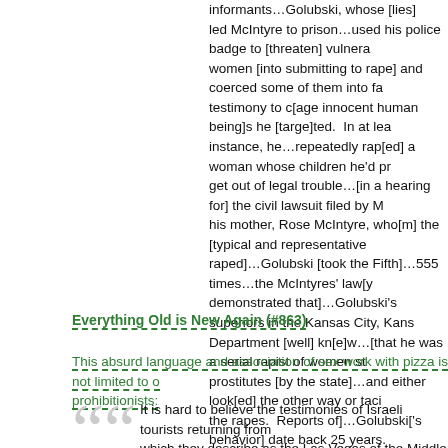informants…Golubski, whose [lies] led McIntyre to prison…used his police badge to [threaten] vulnerable women [into submitting to rape] and coerced some of them into false testimony to c[age innocent human being]s he [targe]ted.  In at least one instance, he…repeatedly rap[ed] a woman whose children he'd promised to get out of legal trouble…[in a hearing for] the civil lawsuit filed by McIntyre, his mother, Rose McIntyre, who[m] the [typical and representative victim he raped]…Golubski [took the Fifth]…555 times…the McIntyres' law[yers demonstrated that]…Golubski's superiors in the Kansas City, Kansas Police Department [well] kn[e]w…[that he was a serial rapist of women stigmatized as prostitutes [by the state]…and either look[ed] the other way or tacitly endorsed the rapes.  Reports of]…Golubski['s behavior] date back 25 years.…[The] Department never accepted] any formal complaints regarding misconduct…[said a spokesow]…the suit names [as accomplices]…Wyandotte County, Kansas City, detectives W.K. Smith, Clyde Blood, James Brown, Dennis W…and estates of…[cops] Dennis Barber, Steve Culp and James Krstolich…
Everything Old is New Again (#863)
This absurd language and association of sex work with pizza is not limited to outright prohibitionists:
It is hard to believe the testimonies of Israeli tourists returning from Dubai, which they describe as the Las Vegas of the Middle East…